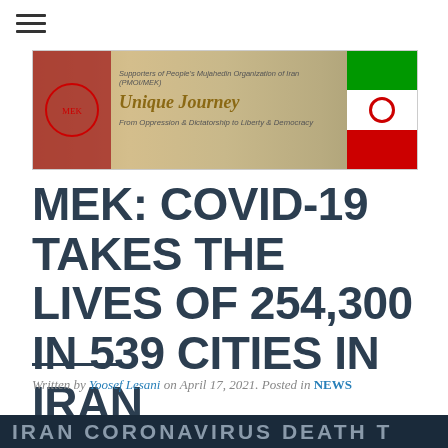☰
[Figure (logo): Unique Journey banner - Supporters of People's Mujahedin Organization of Iran (PMOI/MEK). Unique Journey. From Oppression & Dictatorship to Liberty & Democracy. Features logo on left, text in center, Iranian flag on right.]
MEK: COVID-19 TAKES THE LIVES OF 254,300 IN 539 CITIES IN IRAN
Written by Yoosef Lesani on April 17, 2021. Posted in NEWS
[Figure (screenshot): IRAN CORONAVIRUS DEATH T... (partial dark banner at bottom)]